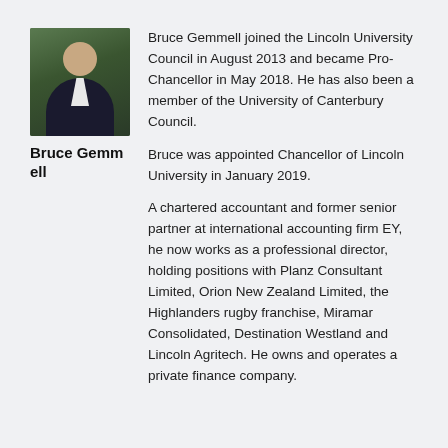[Figure (photo): Portrait photo of Bruce Gemmell, a man in a dark suit with a light shirt, photographed outdoors against a green background.]
Bruce Gemmell
Bruce Gemmell joined the Lincoln University Council in August 2013 and became Pro-Chancellor in May 2018. He has also been a member of the University of Canterbury Council.
Bruce was appointed Chancellor of Lincoln University in January 2019.
A chartered accountant and former senior partner at international accounting firm EY, he now works as a professional director, holding positions with Planz Consultant Limited, Orion New Zealand Limited, the Highlanders rugby franchise, Miramar Consolidated, Destination Westland and Lincoln Agritech. He owns and operates a private finance company.